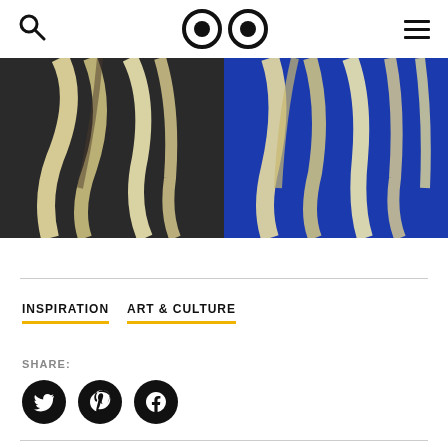Search | Logo (eyes) | Menu
[Figure (photo): Close-up photo of a blonde-haired person wearing a black top, next to another person with long blonde hair in a bright royal blue garment, cropped at the top of the image]
INSPIRATION    ART & CULTURE
SHARE:
[Figure (infographic): Three black circular social media icons: Twitter bird, Pinterest P, Facebook f]